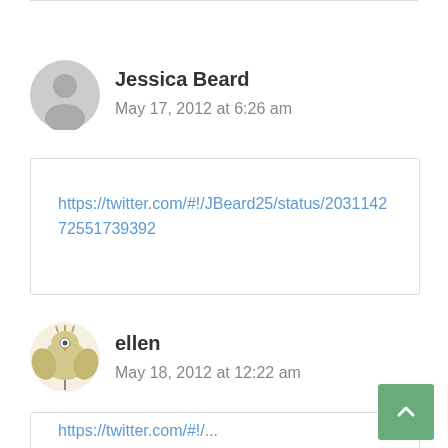Jessica Beard
May 17, 2012 at 6:26 am
https://twitter.com/#!/JBeard25/status/203114272551739392
ellen
May 18, 2012 at 12:22 am
https://twitter.com/#!/...